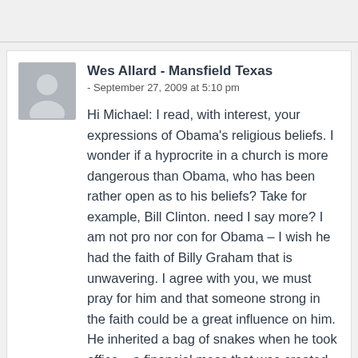Wes Allard - Mansfield Texas
- September 27, 2009 at 5:10 pm
Hi Michael: I read, with interest, your expressions of Obama's religious beliefs. I wonder if a hyprocrite in a church is more dangerous than Obama, who has been rather open as to his beliefs? Take for example, Bill Clinton. need I say more? I am not pro nor con for Obama – I wish he had the faith of Billy Graham that is unwavering. I agree with you, we must pray for him and that someone strong in the faith could be a great influence on him. He inherited a bag of snakes when he took office – a financial mess that was created over a period of time by some cunning, legalized, thieves. Wes Allard –